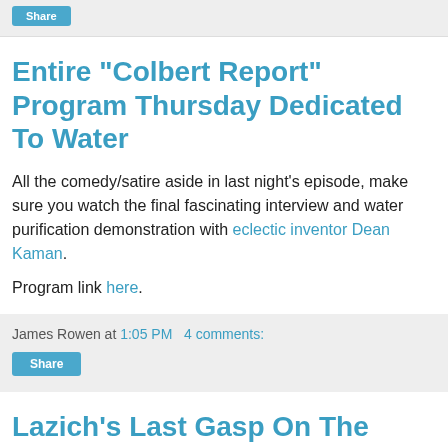Entire "Colbert Report" Program Thursday Dedicated To Water
All the comedy/satire aside in last night's episode, make sure you watch the final fascinating interview and water purification demonstration with eclectic inventor Dean Kaman.
Program link here.
James Rowen at 1:05 PM   4 comments:
Lazich's Last Gasp On The Great Lakes Compact